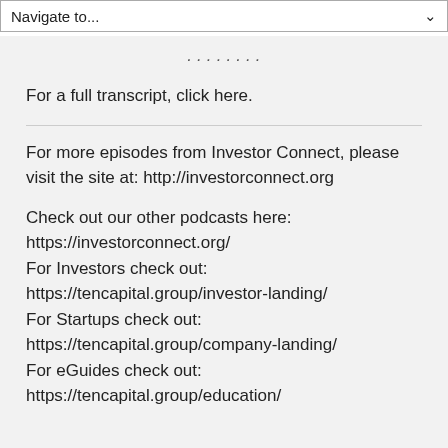Navigate to...
For a full transcript, click here.
For more episodes from Investor Connect, please visit the site at: http://investorconnect.org

Check out our other podcasts here: https://investorconnect.org/
For Investors check out: https://tencapital.group/investor-landing/
For Startups check out: https://tencapital.group/company-landing/
For eGuides check out: https://tencapital.group/education/